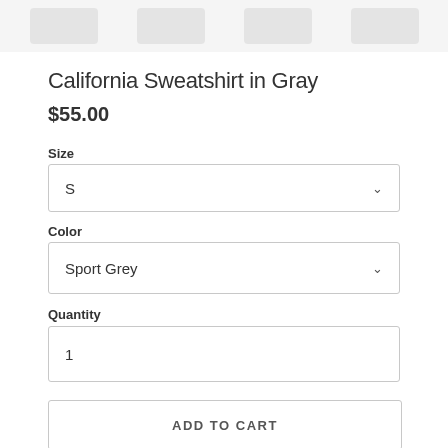[Figure (photo): Thumbnail images of a gray sweatshirt from multiple angles shown in a strip at the top]
California Sweatshirt in Gray
$55.00
Size
S
Color
Sport Grey
Quantity
1
ADD TO CART